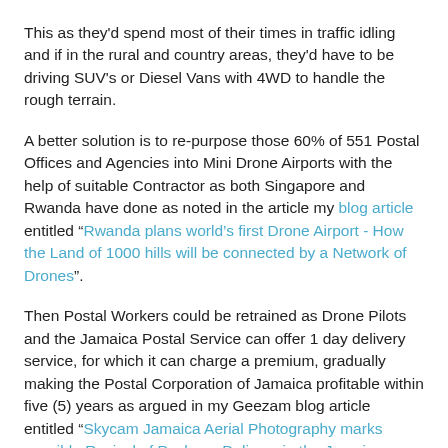This as they'd spend most of their times in traffic idling and if in the rural and country areas, they'd have to be driving SUV's or Diesel Vans with 4WD to handle the rough terrain.
A better solution is to re-purpose those 60% of 551 Postal Offices and Agencies into Mini Drone Airports with the help of suitable Contractor as both Singapore and Rwanda have done as noted in the article my blog article entitled “Rwanda plans world’s first Drone Airport - How the Land of 1000 hills will be connected by a Network of Drones”.
Then Postal Workers could be retrained as Drone Pilots and the Jamaica Postal Service can offer 1 day delivery service, for which it can charge a premium, gradually making the Postal Corporation of Jamaica profitable within five (5) years as argued in my Geezam blog article entitled “Skycam Jamaica Aerial Photography marks possible Revival of Package Delivery in the Jamaica Postal Service”.